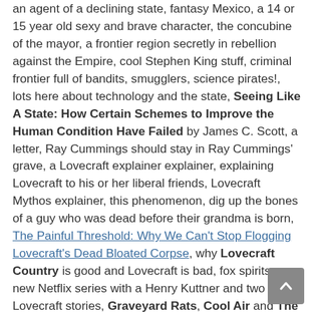an agent of a declining state, fantasy Mexico, a 14 or 15 year old sexy and brave character, the concubine of the mayor, a frontier region secretly in rebellion against the Empire, cool Stephen King stuff, criminal frontier full of bandits, smugglers, science pirates!, lots here about technology and the state, Seeing Like A State: How Certain Schemes to Improve the Human Condition Have Failed by James C. Scott, a letter, Ray Cummings should stay in Ray Cummings' grave, a Lovecraft explainer explainer, explaining Lovecraft to his or her liberal friends, Lovecraft Mythos explainer, this phenomenon, dig up the bones of a guy who was dead before their grandma is born, The Painful Threshold: Why We Can't Stop Flogging Lovecraft's Dead Bloated Corpse, why Lovecraft Country is good and Lovecraft is bad, fox spirits, a new Netflix series with a Henry Kuttner and two H.P. Lovecraft stories, Graveyard Rats, Cool Air and The Statement Of Randolph Carter, Guillermo del Toro, missing the class analysis,